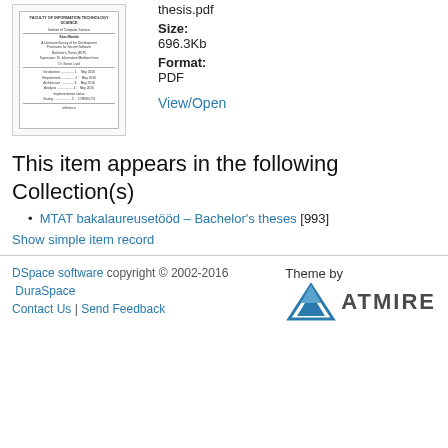[Figure (other): Thumbnail preview of a PDF document titled 'A Literature Survey of the Development Processes for Secure Software']
thesis.pdf
Size:
696.3Kb
Format:
PDF
View/Open
This item appears in the following Collection(s)
MTAT bakalaureusetööd – Bachelor's theses [993]
Show simple item record
DSpace software copyright © 2002-2016  DuraSpace
Contact Us | Send Feedback
Theme by ATMIRE